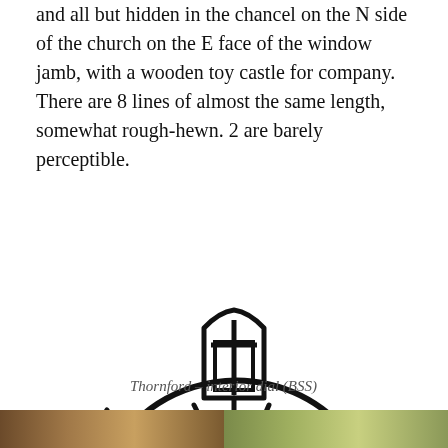and all but hidden in the chancel on the N side of the church on the E face of the window jamb, with a wooden toy castle for company. There are 8 lines of almost the same length, somewhat rough-hewn. 2 are barely perceptible.
[Figure (illustration): Line drawing of a sundial or scratch dial showing a semicircular arc with radiating lines (gnomon lines) fanning out from a central point, and a cross/anchor-like symbol at the top center. The design resembles an archaic wheel or fan shape viewed from the front.]
Thornford – interior dial (BSS)
[Figure (photo): Two partial photographs at the bottom of the page showing architectural or stone details, cut off by the page boundary.]